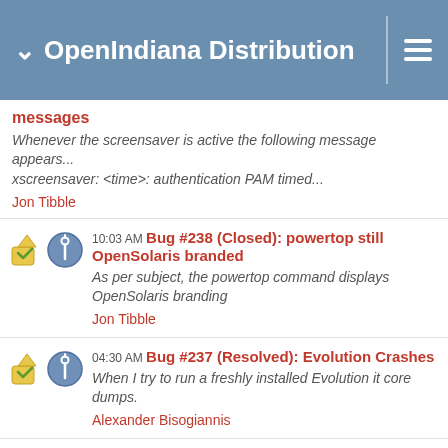OpenIndiana Distribution
messages
Whenever the screensaver is active the following message appears...
xscreensaver: <time>: authentication PAM timed...
Jon Tibble
10:03 AM Bug #238 (Closed): powertop still OpenSolaris branded
As per subject, the powertop command displays OpenSolaris branding
Jon Tibble
04:30 AM Bug #237 (Resolved): Evolution Crashes
When I try to run a freshly installed Evolution it core dumps.
Alexander Bisogiannis
04:29 AM Bug #236 (Closed): Open Office fails to install
When I try to install Open Office from the package manager I get an error approximately @ 74MB about "partial downloa...